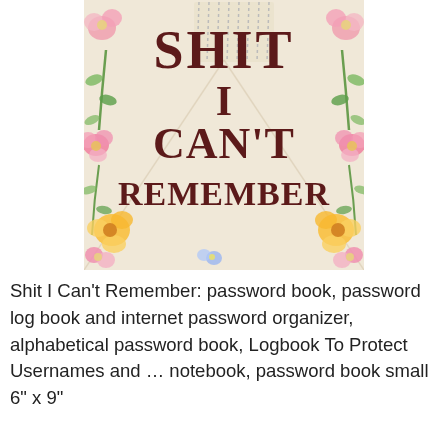[Figure (illustration): Book cover of 'Shit I Can't Remember' password book with floral decorations (pink, yellow, and blue flowers) on sides, cream/beige background with notebook graphic, dark red serif text reading 'SHIT I CAN'T REMEMBER']
Shit I Can't Remember: password book, password log book and internet password organizer, alphabetical password book, Logbook To Protect Usernames and ... notebook, password book small 6" x 9"